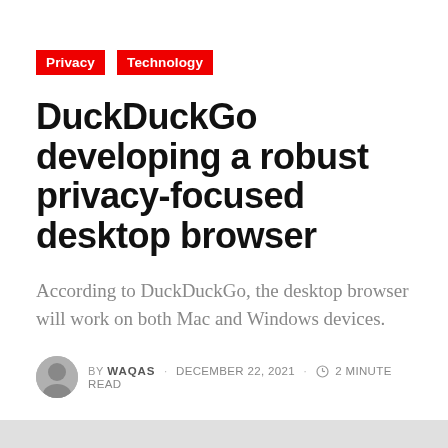Privacy  Technology
DuckDuckGo developing a robust privacy-focused desktop browser
According to DuckDuckGo, the desktop browser will work on both Mac and Windows devices.
BY WAQAS · DECEMBER 22, 2021 · 2 MINUTE READ